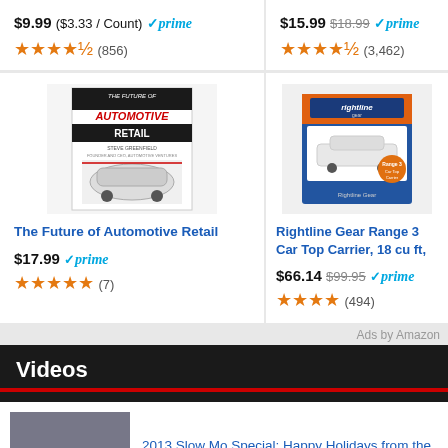$9.99 ($3.33 / Count) prime (856)
$15.99 $18.99 prime (3,462)
[Figure (illustration): Book cover: The Future of Automotive Retail with car illustration]
The Future of Automotive Retail
$17.99 prime ★★★★★ (7)
[Figure (photo): Rightline Gear Range 3 Car Top Carrier product box]
Rightline Gear Range 3 Car Top Carrier, 18 cu ft,
$66.14 $99.95 prime ★★★★ (494)
Ads by Amazon
Videos
[Figure (photo): Car thumbnail for 2013 Slow Mo Special video]
2013 Slow Mo Special: Happy Holidays from the